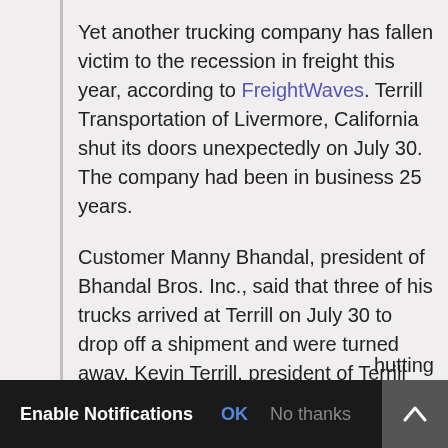Yet another trucking company has fallen victim to the recession in freight this year, according to FreightWaves. Terrill Transportation of Livermore, California shut its doors unexpectedly on July 30. The company had been in business 25 years.
Customer Manny Bhandal, president of Bhandal Bros. Inc., said that three of his trucks arrived at Terrill on July 30 to drop off a shipment and were turned away. Kevin Terrill, president of Terrill Transportation, did not respond to FreightWaves.If the U.S. economy really was in “fine” shape, trucking company hutting
Enable Notifications  OK  No thanks